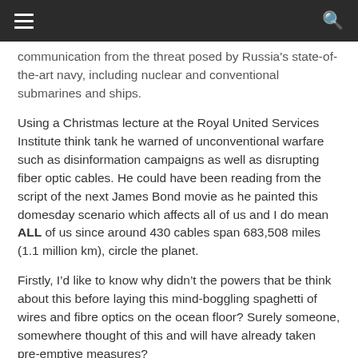[hamburger menu] [search icon]
communication from the threat posed by Russia's state-of-the-art navy, including nuclear and conventional submarines and ships.
Using a Christmas lecture at the Royal United Services Institute think tank he warned of unconventional warfare such as disinformation campaigns as well as disrupting fiber optic cables. He could have been reading from the script of the next James Bond movie as he painted this domesday scenario which affects all of us and I do mean ALL of us since around 430 cables span 683,508 miles (1.1 million km), circle the planet.
Firstly, I’d like to know why didn’t the powers that be think about this before laying this mind-boggling spaghetti of wires and fibre optics on the ocean floor? Surely someone, somewhere thought of this and will have already taken pre-emptive measures?
Secondly, why do we blame the Russians for everything?